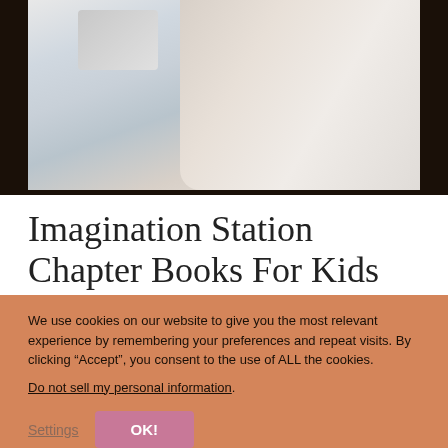[Figure (photo): A baby or young child photographed in soft light near a window, with blurred white/grey background suggesting a bedroom or nursery setting. A blue triangular shape is visible in the background.]
Imagination Station Chapter Books For Kids
We use cookies on our website to give you the most relevant experience by remembering your preferences and repeat visits. By clicking “Accept”, you consent to the use of ALL the cookies.
Do not sell my personal information.
Settings
OK!